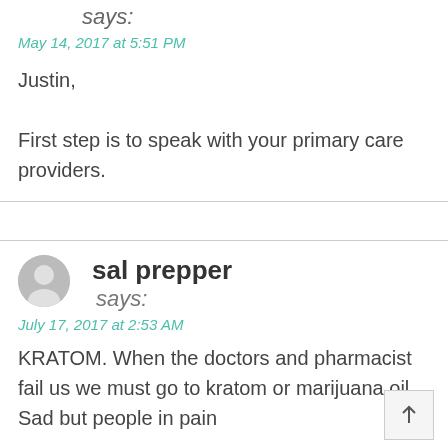says:
May 14, 2017 at 5:51 PM
Justin,
First step is to speak with your primary care providers.
sal prepper says:
July 17, 2017 at 2:53 AM
KRATOM. When the doctors and pharmacist fail us we must go to kratom or marijuana oil. Sad but people in pain